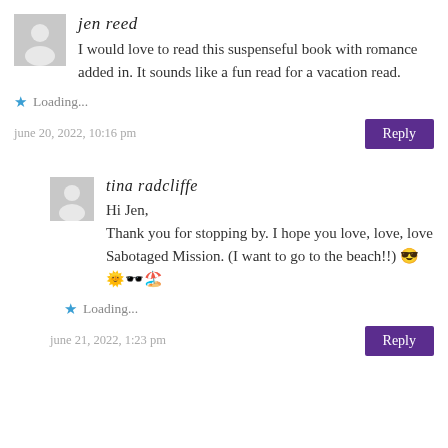jen reed
I would love to read this suspenseful book with romance added in. It sounds like a fun read for a vacation read.
Loading...
june 20, 2022, 10:16 pm
Reply
tina radcliffe
Hi Jen,
Thank you for stopping by. I hope you love, love, love Sabotaged Mission. (I want to go to the beach!!) 😎🌞🕶️🏖️
Loading...
june 21, 2022, 1:23 pm
Reply